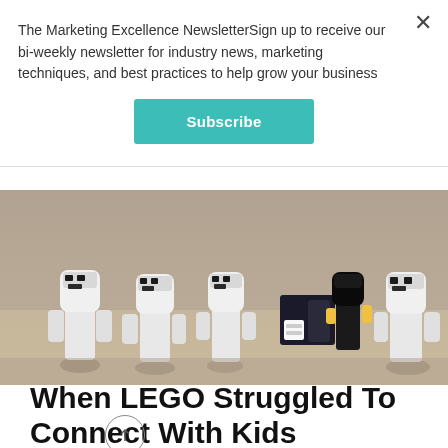The Marketing Excellence NewsletterSign up to receive our bi-weekly newsletter for industry news, marketing techniques, and best practices to help grow your business
Subscribe
[Figure (photo): Photo of LEGO Star Wars stormtrooper minifigures arranged around a small desk with a dark-suited figure, on a wooden surface]
When LEGO Struggled To Connect With Kids
BELIEVE IT OR NOT